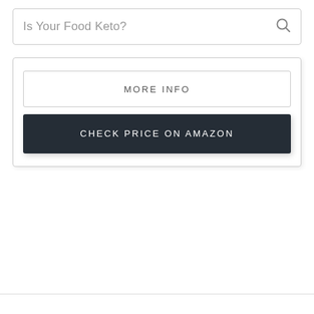Is Your Food Keto?
MORE INFO
CHECK PRICE ON AMAZON